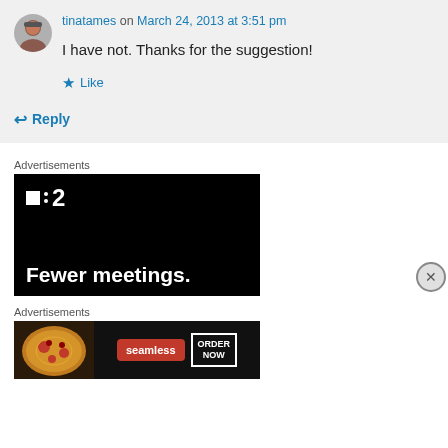tinatames on March 24, 2013 at 3:51 pm
I have not. Thanks for the suggestion!
Like
Reply
Advertisements
[Figure (screenshot): Advertisement banner with dark background showing the P2 logo and text 'Fewer meetings.']
Advertisements
[Figure (screenshot): Seamless food delivery advertisement showing pizza and ORDER NOW button]